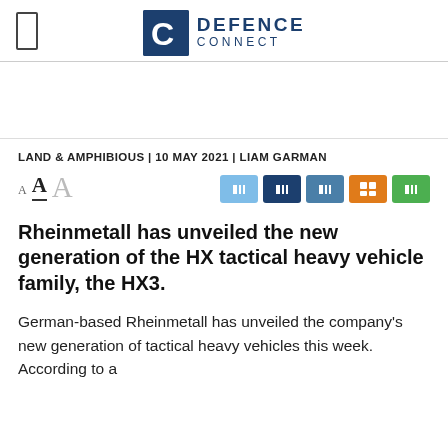[Figure (logo): Defence Connect logo — blue square with white C letter, followed by DEFENCE CONNECT text in navy blue]
LAND & AMPHIBIOUS | 10 MAY 2021 | LIAM GARMAN
Rheinmetall has unveiled the new generation of the HX tactical heavy vehicle family, the HX3.
German-based Rheinmetall has unveiled the company's new generation of tactical heavy vehicles this week. According to a